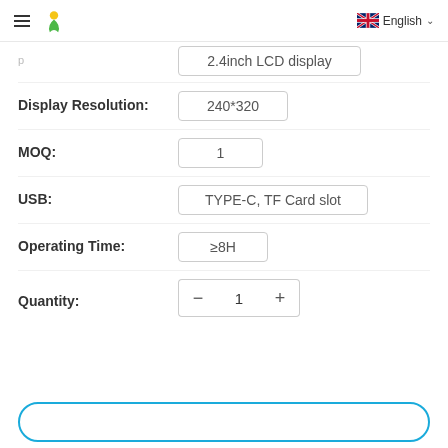≡ [logo] English ∨
2.4inch LCD display
Display Resolution:
240*320
MOQ:
1
USB:
TYPE-C, TF Card slot
Operating Time:
≥8H
Quantity:
1